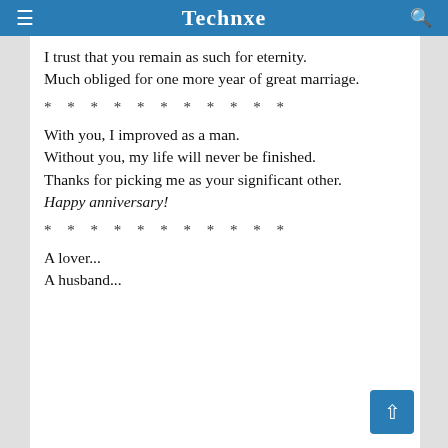Technxe
I trust that you remain as such for eternity.
Much obliged for one more year of great marriage.
* * * * * * * * * * *
With you, I improved as a man.
Without you, my life will never be finished.
Thanks for picking me as your significant other.
Happy anniversary!
* * * * * * * * * * *
A lover...
A husband...